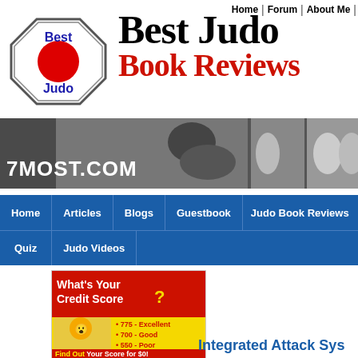Home | Forum | About Me |
[Figure (logo): Best Judo logo: octagonal badge with red circle center, text 'Best Judo' in blue]
Best Judo Book Reviews
[Figure (photo): Black and white banner showing judo martial arts practitioners grappling, with text 7MOST.COM on left side]
Home | Articles | Blogs | Guestbook | Judo Book Reviews | Quiz | Judo Videos
[Figure (screenshot): Advertisement: What's Your Credit Score? 775-Excellent, 700-Good, 550-Poor. CreditReport.com. Find Out Your Score for $0!]
Integrated Attack Sys